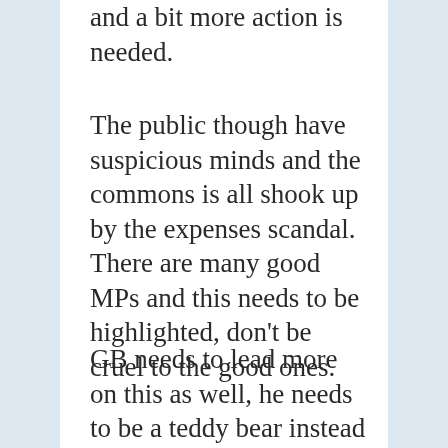and a bit more action is needed.
The public though have suspicious minds and the commons is all shook up by the expenses scandal. There are many good MPs and this needs to be highlighted, don't be cruel to the good ones.
GB needs to lead more on this as well, he needs to be a teddy bear instead of a wooden hearted politician. I'm sure he thinks that's in d...